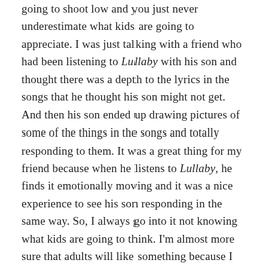going to shoot low and you just never underestimate what kids are going to appreciate. I was just talking with a friend who had been listening to Lullaby with his son and thought there was a depth to the lyrics in the songs that he thought his son might not get. And then his son ended up drawing pictures of some of the things in the songs and totally responding to them. It was a great thing for my friend because when he listens to Lullaby, he finds it emotionally moving and it was a nice experience to see his son responding in the same way. So, I always go into it not knowing what kids are going to think. I'm almost more sure that adults will like something because I also am a music lover and try to make things that I like in music.
KCG: A while back you were pursuing religious studies.